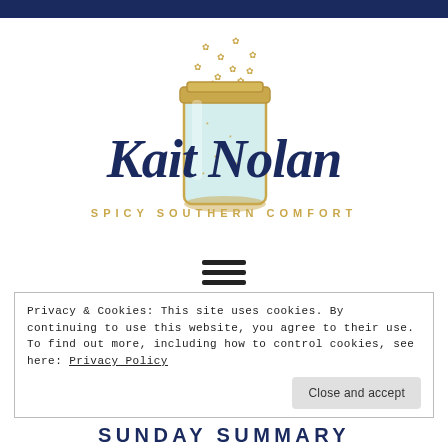[Figure (logo): Kait Nolan logo with script text over a mason jar with fireflies, tagline SPICY SOUTHERN COMFORT in gold]
[Figure (other): Hamburger menu icon (three horizontal lines)]
Privacy & Cookies: This site uses cookies. By continuing to use this website, you agree to their use. To find out more, including how to control cookies, see here: Privacy Policy
Close and accept
SUNDAY SUMMARY